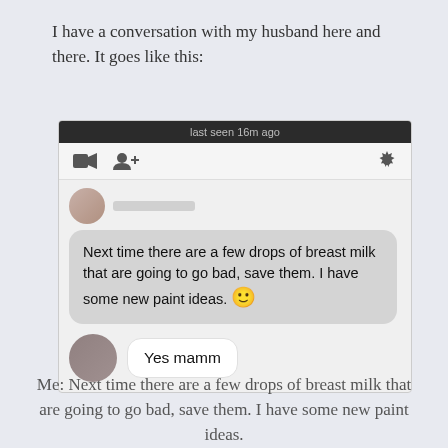I have a conversation with my husband here and there. It goes like this:
[Figure (screenshot): A Facebook Messenger conversation screenshot. Header shows 'last seen 16m ago'. A received message bubble reads: 'Next time there are a few drops of breast milk that are going to go bad, save them. I have some new paint ideas. 🙂'. A reply bubble reads: 'Yes mamm'.]
Me: Next time there are a few drops of breast milk that are going to go bad, save them. I have some new paint ideas.